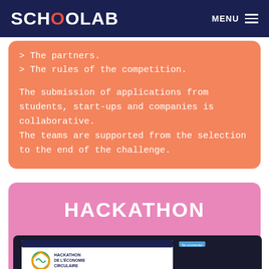SCHOOLAB   MENU
> The partners.
> The rules of the competition.
The submission of applications from students, start-ups and companies is collaborative. The teams are supported from the selection to the end of the challenge.
HACKATHON
[Figure (screenshot): Screenshot of the Hackathon de l'Economie Circulaire website shown on a laptop mockup with a dark frame]